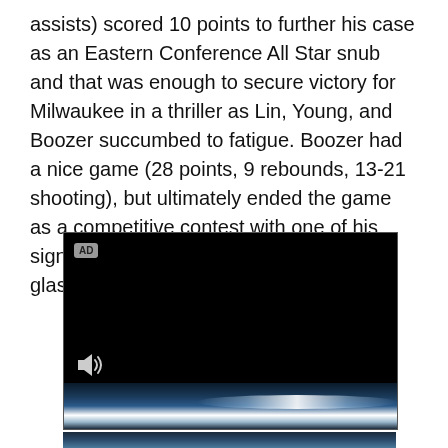assists) scored 10 points to further his case as an Eastern Conference All Star snub and that was enough to secure victory for Milwaukee in a thriller as Lin, Young, and Boozer succumbed to fatigue. Boozer had a nice game (28 points, 9 rebounds, 13-21 shooting), but ultimately ended the game as a competitive contest with one of his signature push off fouls on the offensive glass.
[Figure (screenshot): A black video player with an AD badge in the top-left corner, a speaker/volume icon in the bottom-left, and a blue-tinted swipe/progress bar at the bottom. Below it is another dark-toned strip with a blue swoosh graphic.]